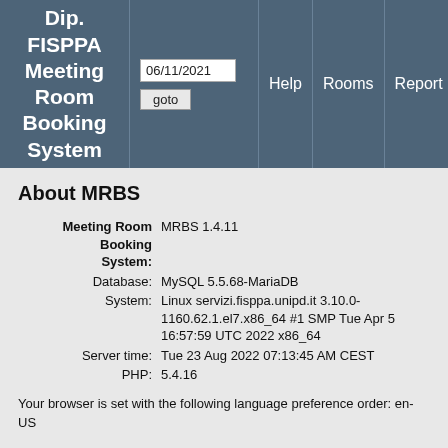Dip. FISPPA Meeting Room Booking System | 06/11/2021 | goto | Help | Rooms | Report | Search: | U...
About MRBS
| Meeting Room Booking System: | MRBS 1.4.11 |
| Database: | MySQL 5.5.68-MariaDB |
| System: | Linux servizi.fisppa.unipd.it 3.10.0-1160.62.1.el7.x86_64 #1 SMP Tue Apr 5 16:57:59 UTC 2022 x86_64 |
| Server time: | Tue 23 Aug 2022 07:13:45 AM CEST |
| PHP: | 5.4.16 |
Your browser is set with the following language preference order: en-US
Help
Please contact administrator for any questions that aren't answered here.